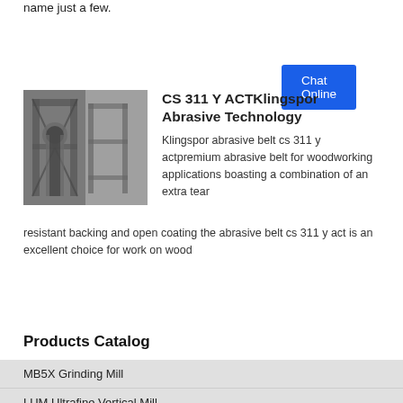name just a few.
Chat Online
CS 311 Y ACTKlingspor Abrasive Technology
[Figure (photo): Industrial machinery or metal fabrication equipment, showing structural steel frames and mechanical components]
Klingspor abrasive belt cs 311 y actpremium abrasive belt for woodworking applications boasting a combination of an extra tear resistant backing and open coating the abrasive belt cs 311 y act is an excellent choice for work on wood
Chat Online
Products Catalog
MB5X Grinding Mill
LUM Ultrafine Vertical Mill
Hammer Mill